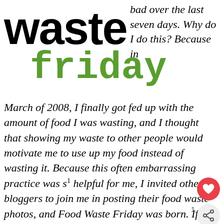waste friday
bad over the last seven days. Why do I do this? Because in March of 2008, I finally got fed up with the amount of food I was wasting, and I thought that showing my waste to other people would motivate me to use up my food instead of wasting it. Because this often embarrassing practice was so helpful for me, I invited other bloggers to join me in posting their food waste photos, and Food Waste Friday was born. If you’re not a blogger but still want some food waste accountability, feel